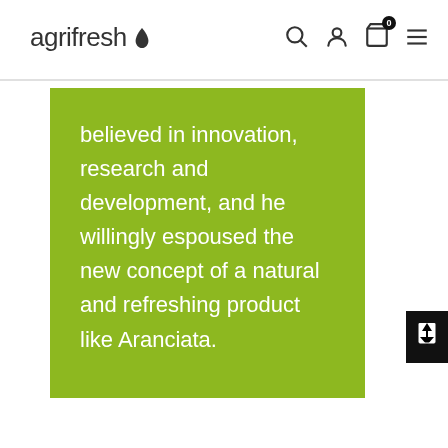agrifresh
believed in innovation, research and development, and he willingly espoused the new concept of a natural and refreshing product like Aranciata.